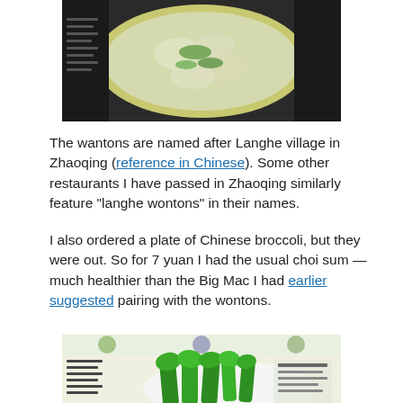[Figure (photo): Top-down view of a bowl of wonton soup with green garnish on a light green/yellow bowl, photographed from above on a dark table surface.]
The wantons are named after Langhe village in Zhaoqing (reference in Chinese). Some other restaurants I have passed in Zhaoqing similarly feature "langhe wontons" in their names.
I also ordered a plate of Chinese broccoli, but they were out. So for 7 yuan I had the usual choi sum — much healthier than the Big Mac I had earlier suggested pairing with the wontons.
[Figure (photo): Plate of choi sum (Chinese green vegetables) on a white plate, with a colorful menu board visible in the background showing Chinese text and food photos.]